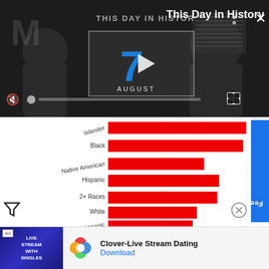[Figure (screenshot): Video player screenshot showing 'This Day in History' with date August 7, mute button, progress bar, and fullscreen icon on dark background]
This Day in History
[Figure (bar-chart): Race/ethnicity groups horizontal bar chart]
[Figure (screenshot): Ad banner for Clover-Live Stream Dating with colorful logo, ad image and Download link]